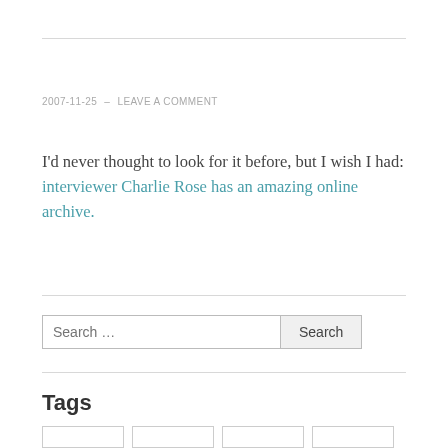2007-11-25  –  LEAVE A COMMENT
I'd never thought to look for it before, but I wish I had: interviewer Charlie Rose has an amazing online archive.
Search …
Tags